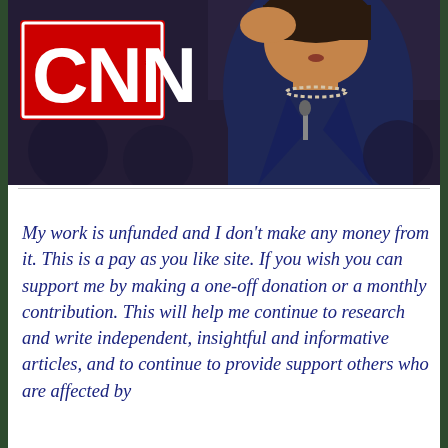[Figure (photo): Photo of a woman speaking, with CNN logo overlay in bottom-left corner. The woman appears to be at a podium or speaking venue, wearing a dark jacket and pearl necklace. The CNN logo is displayed prominently in red and white in the lower-left of the image.]
My work is unfunded and I don't make any money from it. This is a pay as you like site. If you wish you can support me by making a one-off donation or a monthly contribution. This will help me continue to research and write independent, insightful and informative articles, and to continue to provide support others who are affected by the welfare reforms.